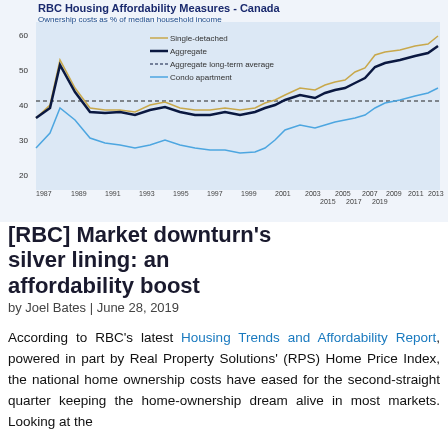[Figure (line-chart): RBC Housing Affordability Measures - Canada]
[RBC] Market downturn's silver lining: an affordability boost
by Joel Bates | June 28, 2019
According to RBC's latest Housing Trends and Affordability Report, powered in part by Real Property Solutions' (RPS) Home Price Index, the national home ownership costs have eased for the second-straight quarter keeping the home-ownership dream alive in most markets. Looking at the